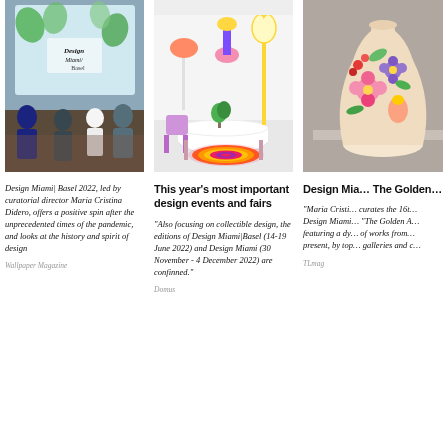[Figure (photo): People walking in front of a large screen showing 'Design Miami/ Basel' logo with green leaf graphics, indoor event space]
Design Miami| Basel 2022, led by curatorial director Maria Cristina Didero, offers a positive spin after the unprecedented times of the pandemic, and looks at the history and spirit of design
Wallpaper Magazine
[Figure (photo): Colorful design furniture display with pink and purple table, colorful stool, rugs, and decorative lamps in a bright exhibition space]
This year's most important design events and fairs
“Also focusing on collectible design, the editions of Design Miami|Basel (14-19 June 2022) and Design Miami (30 November - 4 December 2022) are confinned."
Domus
[Figure (photo): Close-up of a decorative ceramic or sculptural object with colorful floral and figurative motifs on a grey background]
Design Mia… The Golden…
"Maria Cristi… curates the 16t… Design Miami… “The Golden A… featuring a dy… of works from… present, by top… galleries and c…
TLmag